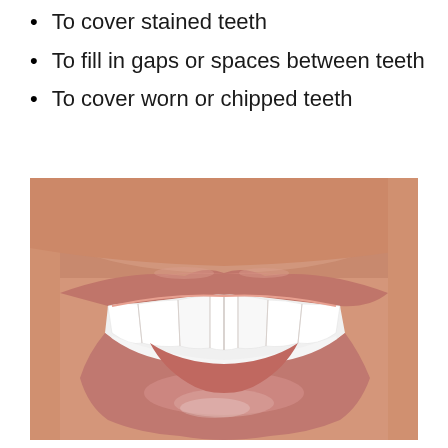To cover stained teeth
To fill in gaps or spaces between teeth
To cover worn or chipped teeth
[Figure (photo): Close-up photo of a person's mouth showing a smile with white, even teeth and pink lips, demonstrating dental veneers or healthy teeth.]